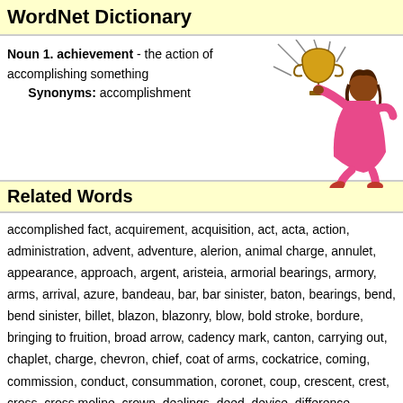WordNet Dictionary
Noun 1. achievement - the action of accomplishing something
      Synonyms: accomplishment
[Figure (illustration): Illustration of a person in pink clothing holding a trophy cup, in a celebratory pose with rays of light radiating from the trophy.]
Related Words
accomplished fact, acquirement, acquisition, act, acta, action, administration, advent, adventure, alerion, animal charge, annulet, appearance, approach, argent, aristeia, armorial bearings, armory, arms, arrival, azure, bandeau, bar, bar sinister, baton, bearings, bend, bend sinister, billet, blazon, blazonry, blow, bold stroke, bordure, bringing to fruition, broad arrow, cadency mark, canton, carrying out, chaplet, charge, chevron, chief, coat of arms, cockatrice, coming, commission, conduct, consummation, coronet, coup, crescent, crest, cross, cross moline, crown, dealings, deed, device, difference, differencing, discharge, dispatch, doing, doings, eagle, effectuation, effort, enactment, endeavor, enterprise, ermine, ermines, erminites, erminois, escutcheon, execution, fait accompli, falcon, fess, fess